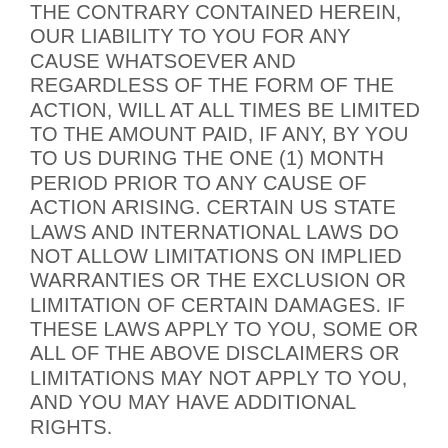THE CONTRARY CONTAINED HEREIN, OUR LIABILITY TO YOU FOR ANY CAUSE WHATSOEVER AND REGARDLESS OF THE FORM OF THE ACTION, WILL AT ALL TIMES BE LIMITED TO THE AMOUNT PAID, IF ANY, BY YOU TO US DURING THE ONE (1) MONTH PERIOD PRIOR TO ANY CAUSE OF ACTION ARISING. CERTAIN US STATE LAWS AND INTERNATIONAL LAWS DO NOT ALLOW LIMITATIONS ON IMPLIED WARRANTIES OR THE EXCLUSION OR LIMITATION OF CERTAIN DAMAGES. IF THESE LAWS APPLY TO YOU, SOME OR ALL OF THE ABOVE DISCLAIMERS OR LIMITATIONS MAY NOT APPLY TO YOU, AND YOU MAY HAVE ADDITIONAL RIGHTS.
INDEMNIFICATION
You agree to defend, indemnify, and hold us harmless, including our